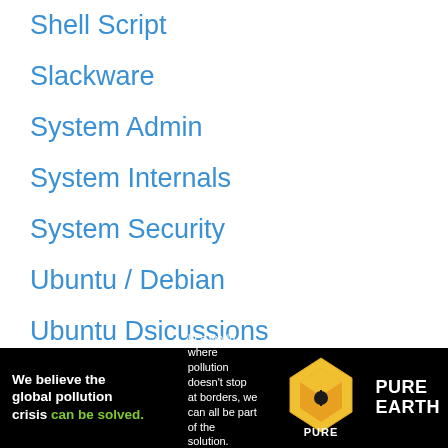Shell Script
Slackware
System Admin
System Internals
System Security
Ubuntu / Debian
Ubuntu Dsicussions
Uncategorized
Utilities
VIM tips
WICED
[Figure (infographic): Pure Earth advertisement banner: black background with text 'We believe the global pollution crisis can be solved.' in white and green, with tagline about pollution not stopping at borders, JOIN US in yellow, and Pure Earth diamond logo with text.]